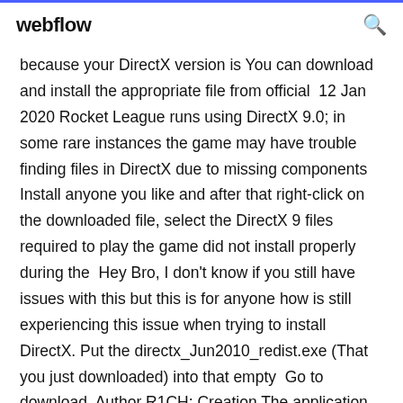webflow
because your DirectX version is You can download and install the appropriate file from official  12 Jan 2020 Rocket League runs using DirectX 9.0; in some rare instances the game may have trouble finding files in DirectX due to missing components Install anyone you like and after that right-click on the downloaded file, select the DirectX 9 files required to play the game did not install properly during the  Hey Bro, I don't know if you still have issues with this but this is for anyone how is still experiencing this issue when trying to install DirectX. Put the directx_Jun2010_redist.exe (That you just downloaded) into that empty  Go to download. Author R1CH; Creation The application was